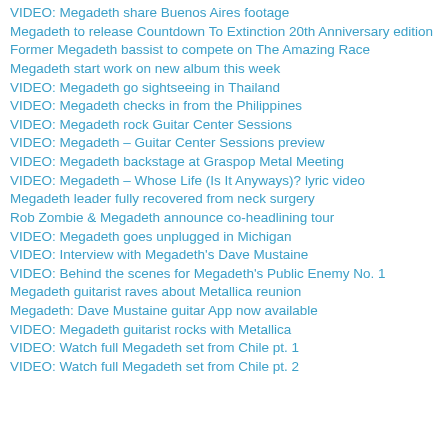VIDEO: Megadeth share Buenos Aires footage
Megadeth to release Countdown To Extinction 20th Anniversary edition
Former Megadeth bassist to compete on The Amazing Race
Megadeth start work on new album this week
VIDEO: Megadeth go sightseeing in Thailand
VIDEO: Megadeth checks in from the Philippines
VIDEO: Megadeth rock Guitar Center Sessions
VIDEO: Megadeth – Guitar Center Sessions preview
VIDEO: Megadeth backstage at Graspop Metal Meeting
VIDEO: Megadeth – Whose Life (Is It Anyways)? lyric video
Megadeth leader fully recovered from neck surgery
Rob Zombie & Megadeth announce co-headlining tour
VIDEO: Megadeth goes unplugged in Michigan
VIDEO: Interview with Megadeth's Dave Mustaine
VIDEO: Behind the scenes for Megadeth's Public Enemy No. 1
Megadeth guitarist raves about Metallica reunion
Megadeth: Dave Mustaine guitar App now available
VIDEO: Megadeth guitarist rocks with Metallica
VIDEO: Watch full Megadeth set from Chile pt. 1
VIDEO: Watch full Megadeth set from Chile pt. 2